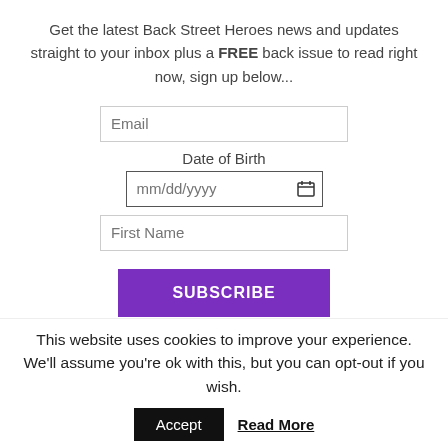Get the latest Back Street Heroes news and updates straight to your inbox plus a FREE back issue to read right now, sign up below...
[Figure (screenshot): Email input field with placeholder text 'Email']
Date of Birth
[Figure (screenshot): Date of Birth input field with placeholder mm/dd/yyyy and calendar icon]
[Figure (screenshot): First Name input field with placeholder text 'First Name']
[Figure (screenshot): Purple SUBSCRIBE button]
You can unsubscribe at any time.
This website uses cookies to improve your experience. We'll assume you're ok with this, but you can opt-out if you wish.
[Figure (screenshot): Accept button (black) and Read More link (bold underlined)]